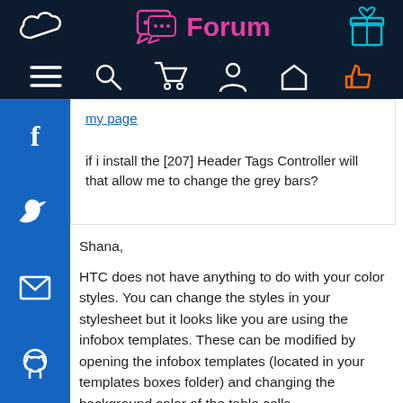Forum
my page
if i install the [207] Header Tags Controller will that allow me to change the grey bars?
Shana,

HTC does not have anything to do with your color styles. You can change the styles in your stylesheet but it looks like you are using the infobox templates. These can be modified by opening the infobox templates (located in your templates boxes folder) and changing the background color of the table cells.

HTC will give you Search Engine Meta Tags to your shop. If you
HTC will give you Search Engine Meta Tags to your shop. If you